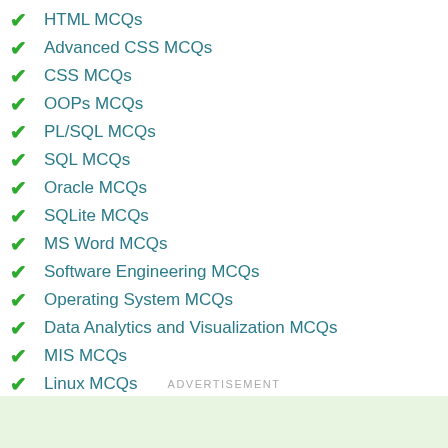HTML MCQs
Advanced CSS MCQs
CSS MCQs
OOPs MCQs
PL/SQL MCQs
SQL MCQs
Oracle MCQs
SQLite MCQs
MS Word MCQs
Software Engineering MCQs
Operating System MCQs
Data Analytics and Visualization MCQs
MIS MCQs
Linux MCQs
WordPress MCQs
Blogging MCQs
ADVERTISEMENT